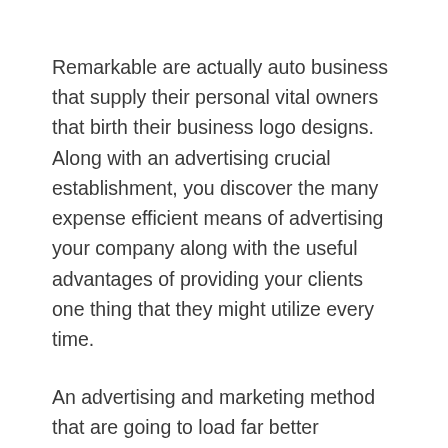Remarkable are actually auto business that supply their personal vital owners that birth their business logo designs. Along with an advertising crucial establishment, you discover the many expense efficient means of advertising your company along with the useful advantages of providing your clients one thing that they might utilize every time.
An advertising and marketing method that are going to load far better competition for your company is actually to create recognized your identification to the general public. Promo vital establishments deliver a wonderful option for creating recognized your business solutions.